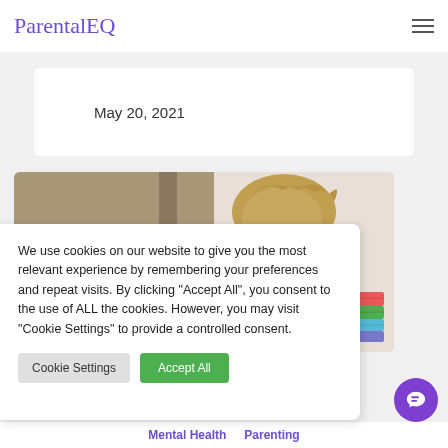ParentalEQ
May 20, 2021
[Figure (photo): Child leaning over a stack of colorful books, viewed from behind]
We use cookies on our website to give you the most relevant experience by remembering your preferences and repeat visits. By clicking "Accept All", you consent to the use of ALL the cookies. However, you may visit "Cookie Settings" to provide a controlled consent.
Cookie Settings  Accept All
Mental Health  Parenting